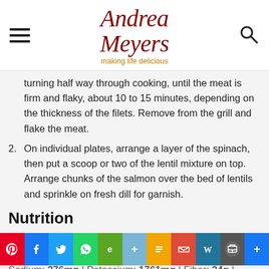Andrea Meyers — making life delicious
turning half way through cooking, until the meat is firm and flaky, about 10 to 15 minutes, depending on the thickness of the filets. Remove from the grill and flake the meat.
2. On individual plates, arrange a layer of the spinach, then put a scoop or two of the lentil mixture on top. Arrange chunks of the salmon over the bed of lentils and sprinkle on fresh dill for garnish.
Nutrition
Calories: 637kcal | Carbohydrates: 52g | Protein: 46g | Fat: 27g | Saturated Fat: 4g | Cholesterol: 70mg | Sodium: 276mg | Potassium: 1761mg | Fiber: 24g | Sugar: 5g | Vitamin A: 5556IU | Vitamin